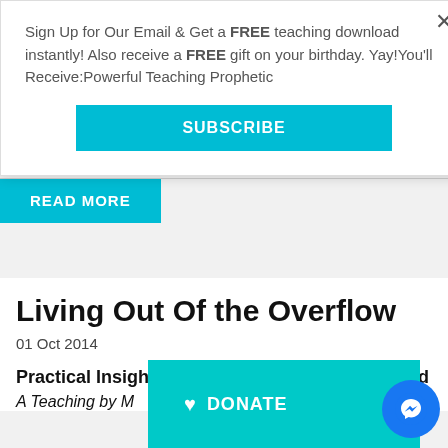Sign Up for Our Email & Get a FREE teaching download instantly! Also receive a FREE gift on your birthday. Yay!You'll Receive:Powerful Teaching Prophetic
SUBSCRIBE
READ MORE
Living Out Of the Overflow
01 Oct 2014
Practical Insights into Carrying the Glory of God
A Teaching by M
DONATE